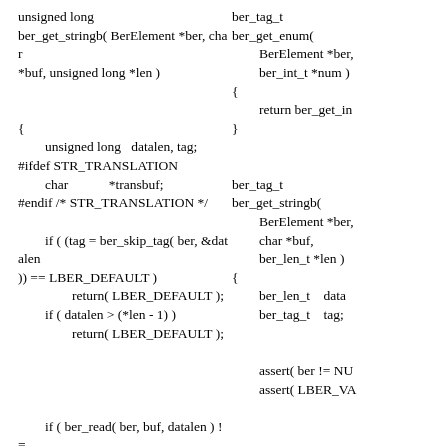unsigned long
ber_get_stringb( BerElement *ber, char *buf, unsigned long *len )

{
        unsigned long   datalen, tag;
#ifdef STR_TRANSLATION
        char            *transbuf;
#endif /* STR_TRANSLATION */

        if ( (tag = ber_skip_tag( ber, &datalen
)) == LBER_DEFAULT )
                return( LBER_DEFAULT );
        if ( datalen > (*len - 1) )
                return( LBER_DEFAULT );



        if ( ber_read( ber, buf, datalen ) !=
datalen )
                return( LBER_DEFAULT );
ber_tag_t
ber_get_enum(
        BerElement *ber,
        ber_int_t *num )
{
        return ber_get_in
}


ber_tag_t
ber_get_stringb(
        BerElement *ber,
        char *buf,
        ber_len_t *len )
{
        ber_len_t    data
        ber_tag_t    tag;


        assert( ber != NU
        assert( LBER_VA